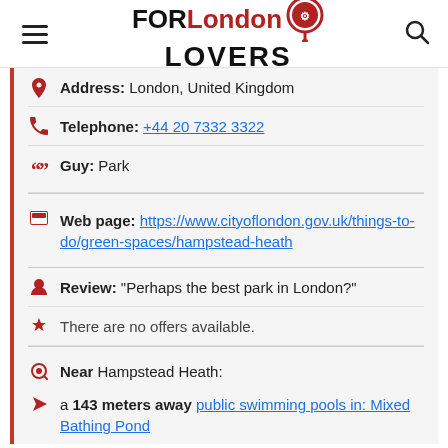FOR London LOVERS
Address: London, United Kingdom
Telephone: +44 20 7332 3322
Guy: Park
Web page: https://www.cityoflondon.gov.uk/things-to-do/green-spaces/hampstead-heath
Review: "Perhaps the best park in London?"
There are no offers available.
Near Hampstead Heath:
a 143 meters away public swimming pools in: Mixed Bathing Pond
Are you the owner of the business? PROMOTE IT!